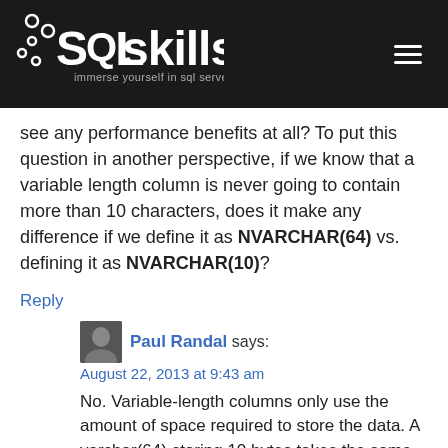[Figure (logo): SQLskills logo - white text on dark background with circles decoration and tagline 'immerse yourself in sql server']
see any performance benefits at all? To put this question in another perspective, if we know that a variable length column is never going to contain more than 10 characters, does it make any difference if we define it as NVARCHAR(64) vs. defining it as NVARCHAR(10)?
Reply
Paul Randal says:
August 22, 2013 at 9:43 am
No. Variable-length columns only use the amount of space required to store the data. A varchar(64) storing 10 bytes takes the same space as a